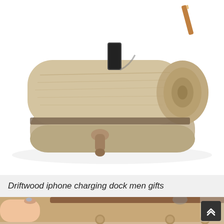[Figure (photo): A driftwood iPhone charging dock on a white background, made from a natural log piece with a slot cut for the phone]
Driftwood iphone charging dock men gifts
[Figure (photo): A hand holding a large flat wooden peg board with small round wooden pegs, shot in a room setting]